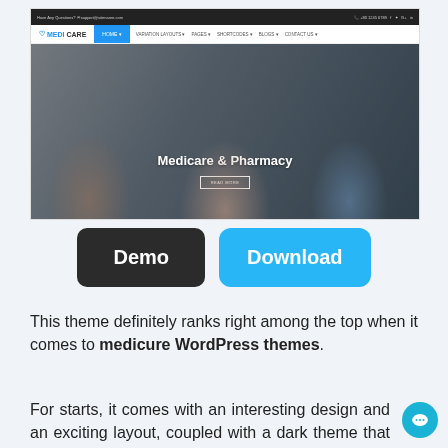[Figure (screenshot): Screenshot of Medicare WordPress theme website showing dark top bar with contact info, white navigation bar with MEDICARE logo and blue HOME button, and a hero image with three medical professionals smiling with overlay text 'Medicare & Pharmacy' and a READ MORE button]
[Figure (other): Two buttons: dark rounded 'Demo' button and blue rounded 'Download' button]
This theme definitely ranks right among the top when it comes to medicure WordPress themes.
For starts, it comes with an interesting design and an exciting layout, coupled with a dark theme that is designed to